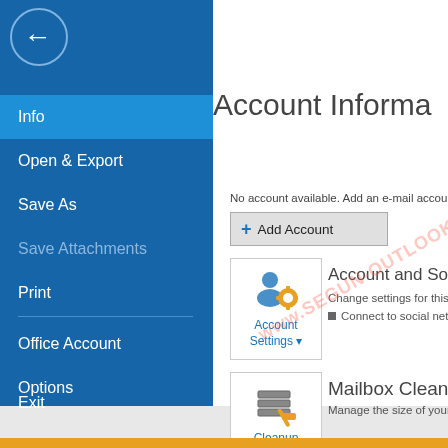[Figure (screenshot): Microsoft Outlook Account Information settings screen showing left navigation panel with menu items (Info selected), and right panel with Account Information title, Add Account button, Account Settings icon box, and Cleanup Tools icon box.]
Account Information
No account available. Add an e-mail account to enable all features
Add Account
Account and Social Network Settings
Change settings for this account or set up more connections.
Connect to social networks.
Mailbox Cleanup
Manage the size of your mailbox.